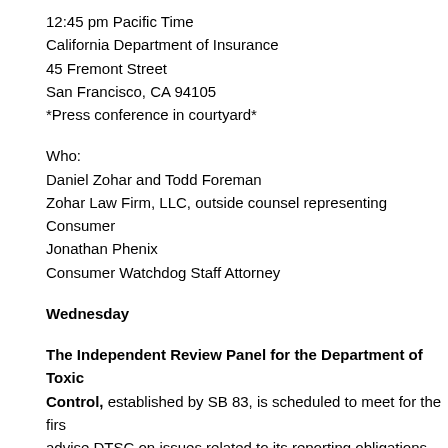12:45 pm Pacific Time
California Department of Insurance
45 Fremont Street
San Francisco, CA 94105
*Press conference in courtyard*
Who:
Daniel Zohar and Todd Foreman
Zohar Law Firm, LLC, outside counsel representing Consumer
Jonathan Phenix
Consumer Watchdog Staff Attorney
Wednesday
The Independent Review Panel for the Department of Toxic Control, established by SB 83, is scheduled to meet for the first time. The panel will advise DTSC on issues related to its reporting obligations, make recommendations for improving DTSC's programs, advise DTSC on increasing the level of environmental protection by its programs, and report to the Governor and the Legislature.